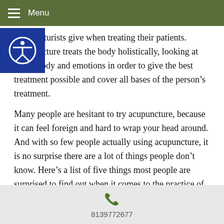Menu
acupuncturists give when treating their patients. Acupuncture treats the body holistically, looking at mind, body and emotions in order to give the best treatment possible and cover all bases of the person’s treatment.
Many people are hesitant to try acupuncture, because it can feel foreign and hard to wrap your head around. And with so few people actually using acupuncture, it is no surprise there are a lot of things people don’t know. Here’s a list of five things most people are surprised to find out when it comes to the practice of acupuncture.
Acupuncture does NOT hurt
Licensed acupuncturists hear it all the time, “I don’t like needles.” Well, realistically, who does? But the needles used by acupuncturists are the width of a human hair, very flexible and most people don’t even feel
8139772677